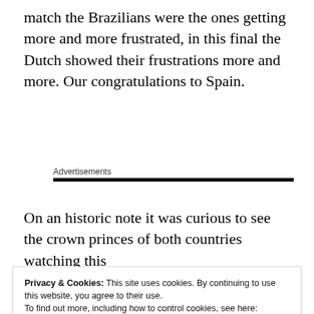match the Brazilians were the ones getting more and more frustrated, in this final the Dutch showed their frustrations more and more. Our congratulations to Spain.
Advertisements
On an historic note it was curious to see the crown princes of both countries watching this
Privacy & Cookies: This site uses cookies. By continuing to use this website, you agree to their use.
To find out more, including how to control cookies, see here:
Cookie Policy